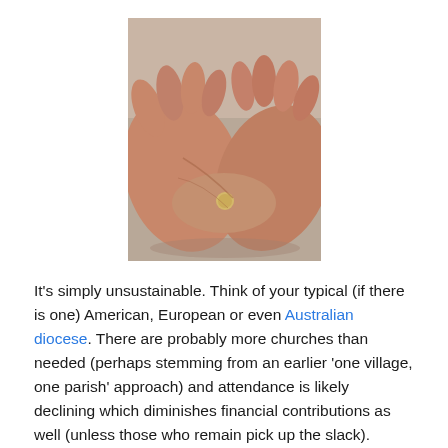[Figure (photo): A close-up photograph of elderly hands cupped together holding a small coin, resting on a grey surface.]
It's simply unsustainable. Think of your typical (if there is one) American, European or even Australian diocese. There are probably more churches than needed (perhaps stemming from an earlier 'one village, one parish' approach) and attendance is likely declining which diminishes financial contributions as well (unless those who remain pick up the slack). Meanwhile the costs of church maintenance continue to increase as historic